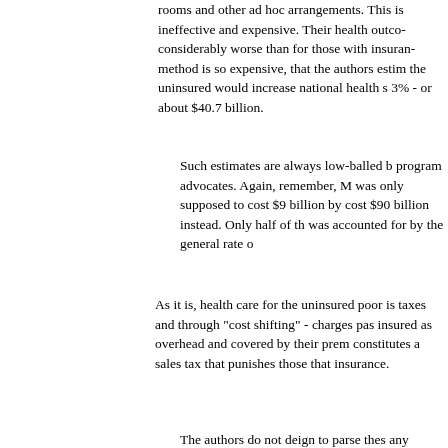rooms and other ad hoc arrangements. This is ineffective and expensive. Their health outcomes considerably worse than for those with insurance. method is so expensive, that the authors estimate the uninsured would increase national health spending 3% - or about $40.7 billion.
Such estimates are always low-balled by program advocates. Again, remember, Medicare was only supposed to cost $9 billion by 1990 - it cost $90 billion instead. Only half of that increase was accounted for by the general rate of...
As it is, health care for the uninsured poor is paid taxes and through "cost shifting" - charges passed insured as overhead and covered by their premiums. constitutes a sales tax that punishes those that buy insurance.
The authors do not deign to parse these in any meaningful way. The "uninsured" include welfare cases that can obtain Medicaid when they need it and the wealthy who could purchase insurance but choose to self insure, unemployed and low wage workers who cannot afford insurance, and the self-employed...